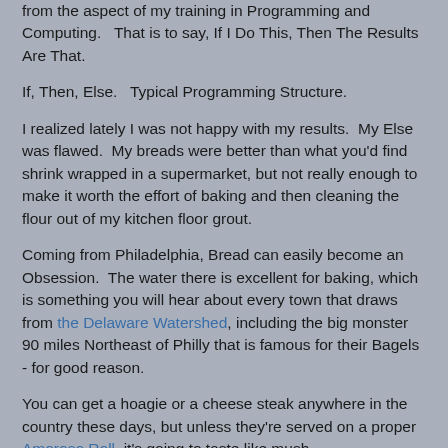from the aspect of my training in Programming and Computing.   That is to say, If I Do This, Then The Results Are That.
If, Then, Else.   Typical Programming Structure.
I realized lately I was not happy with my results.  My Else was flawed.  My breads were better than what you'd find shrink wrapped in a supermarket, but not really enough to make it worth the effort of baking and then cleaning the flour out of my kitchen floor grout.
Coming from Philadelphia, Bread can easily become an Obsession.  The water there is excellent for baking, which is something you will hear about every town that draws from the Delaware Watershed, including the big monster 90 miles Northeast of Philly that is famous for their Bagels - for good reason.
You can get a hoagie or a cheese steak anywhere in the country these days, but unless they're served on a proper Amoroso Roll, it's going to taste like mush.